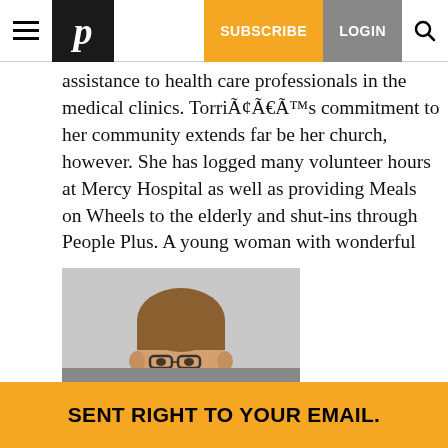SUBSCRIBE | LOGIN
assistance to health care professionals in the medical clinics. TorriÃ¢Ã€Ã™s commitment to her community extends far beyond her church, however. She has logged many volunteer hours at Mercy Hospital as well as providing Meals on Wheels to the elderly and shut-ins through People Plus. A young woman with wonderful energy, a clear sense of self, great drive, self-discipline and determination, Torri will continue to give much to those around her whether in the classroom or in any activity she pursues.
[Figure (photo): Black and white headshot photo of Nate McCue, a young man wearing glasses and a striped polo shirt, smiling at the camera.]
Nate McCue is the youngest child of Robert and Barbara McC
SENT RIGHT TO YOUR EMAIL.